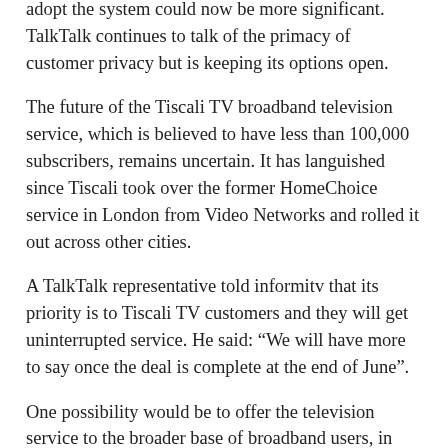adopt the system could now be more significant. TalkTalk continues to talk of the primacy of customer privacy but is keeping its options open.
The future of the Tiscali TV broadband television service, which is believed to have less than 100,000 subscribers, remains uncertain. It has languished since Tiscali took over the former HomeChoice service in London from Video Networks and rolled it out across other cities.
A TalkTalk representative told informitv that its priority is to Tiscali TV customers and they will get uninterrupted service. He said: “We will have more to say once the deal is complete at the end of June”.
One possibility would be to offer the television service to the broader base of broadband users, in which case it could achieve more significant scale. On the other hand, it could be quietly discontinued, in which case the United Kingdom would lose its